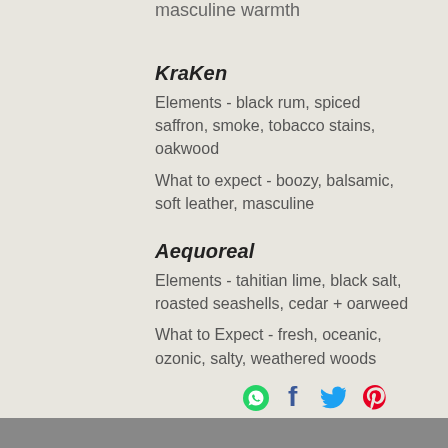masculine warmth
KraKen
Elements - black rum, spiced saffron, smoke, tobacco stains, oakwood
What to expect - boozy, balsamic, soft leather, masculine
Aequoreal
Elements - tahitian lime, black salt, roasted seashells, cedar + oarweed
What to Expect - fresh, oceanic, ozonic, salty, weathered woods
social share icons: WhatsApp, Facebook, Twitter, Pinterest